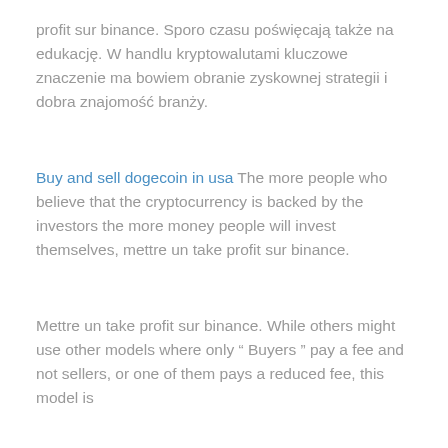profit sur binance. Sporo czasu poświęcają także na edukację. W handlu kryptowalutami kluczowe znaczenie ma bowiem obranie zyskownej strategii i dobra znajomość branży.
Buy and sell dogecoin in usa The more people who believe that the cryptocurrency is backed by the investors the more money people will invest themselves, mettre un take profit sur binance.
Mettre un take profit sur binance. While others might use other models where only " Buyers " pay a fee and not sellers, or one of them pays a reduced fee, this model is